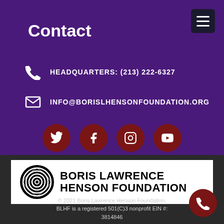Contact
HEADQUARTERS: (213) 222-6327
INFO@BORISLHENSONFOUNDATION.ORG
[Figure (other): Social media icons: Twitter, Facebook, Instagram, YouTube — dark red circular buttons]
[Figure (logo): Boris Lawrence Henson Foundation logo — circular black and white swirl icon with bold black text]
© 2021 Boris Lawrence Henson Foundation. BLHF is a registered 501(C)3 nonprofit EIN #: 3814846